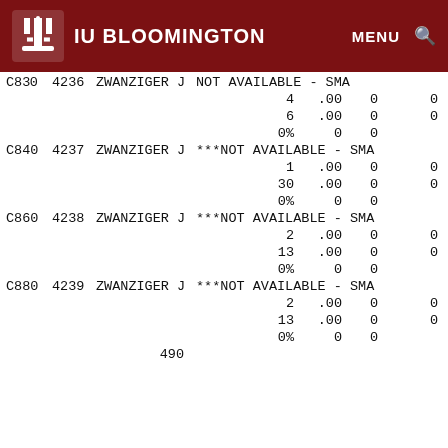IU BLOOMINGTON
| Code | Num | Name | Availability | V1 | V2 | Extra |
| --- | --- | --- | --- | --- | --- | --- |
| C830 | 4236 | ZWANZIGER J | NOT AVAILABLE - SMA |  |  |  |
|  |  |  | 4 | .00 | 0 | 0 |
|  |  |  | 6 | .00 | 0 | 0 |
|  |  |  | 0% | 0 | 0 |  |
| C840 | 4237 | ZWANZIGER J | ***NOT AVAILABLE - SMA |  |  |  |
|  |  |  | 1 | .00 | 0 | 0 |
|  |  |  | 30 | .00 | 0 | 0 |
|  |  |  | 0% | 0 | 0 |  |
| C860 | 4238 | ZWANZIGER J | ***NOT AVAILABLE - SMA |  |  |  |
|  |  |  | 2 | .00 | 0 | 0 |
|  |  |  | 13 | .00 | 0 | 0 |
|  |  |  | 0% | 0 | 0 |  |
| C880 | 4239 | ZWANZIGER J | ***NOT AVAILABLE - SMA |  |  |  |
|  |  |  | 2 | .00 | 0 | 0 |
|  |  |  | 13 | .00 | 0 | 0 |
|  |  |  | 0% | 0 | 0 |  |
|  |  | 490 |  |  |  |  |